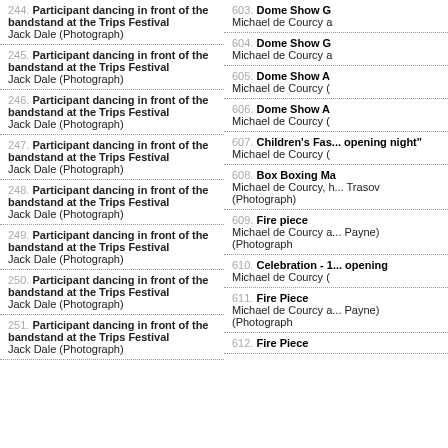244. Participant dancing in front of the bandstand at the Trips Festival
Jack Dale (Photograph)
245. Participant dancing in front of the bandstand at the Trips Festival
Jack Dale (Photograph)
246. Participant dancing in front of the bandstand at the Trips Festival
Jack Dale (Photograph)
247. Participant dancing in front of the bandstand at the Trips Festival
Jack Dale (Photograph)
248. Participant dancing in front of the bandstand at the Trips Festival
Jack Dale (Photograph)
249. Participant dancing in front of the bandstand at the Trips Festival
Jack Dale (Photograph)
250. Participant dancing in front of the bandstand at the Trips Festival
Jack Dale (Photograph)
251. Participant dancing in front of the bandstand at the Trips Festival
Jack Dale (Photograph)
603. Dome Show G...
Michael de Courcy a
604. Dome Show G
Michael de Courcy a
605. Dome Show A
Michael de Courcy (
606. Dome Show A
Michael de Courcy (
607. Children's Fas... opening night"
Michael de Courcy (
608. Box Boxing Ma
Michael de Courcy, h... Trasov (Photograph)
609. Fire piece
Michael de Courcy a... Payne) (Photograph
610. Celebration - 1... opening
Michael de Courcy (
611. Fire Piece
Michael de Courcy a... Payne) (Photograph
612. Fire Piece